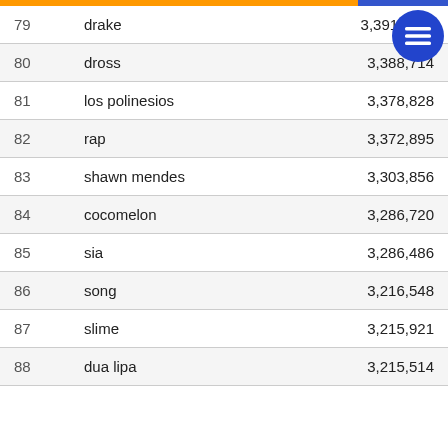| # | Name | Value |
| --- | --- | --- |
| 79 | drake | 3,391,08… |
| 80 | dross | 3,388,714 |
| 81 | los polinesios | 3,378,828 |
| 82 | rap | 3,372,895 |
| 83 | shawn mendes | 3,303,856 |
| 84 | cocomelon | 3,286,720 |
| 85 | sia | 3,286,486 |
| 86 | song | 3,216,548 |
| 87 | slime | 3,215,921 |
| 88 | dua lipa | 3,215,514 |